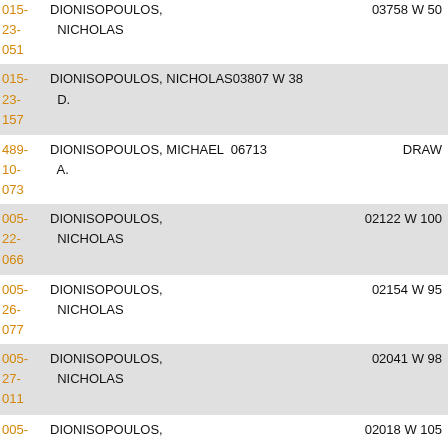015-DIONISOPOULOS, NICHOLAS 03758 W 50
23-051
015-DIONISOPOULOS, NICHOLAS03807 W 38
23-157 D.
489-DIONISOPOULOS, MICHAEL 06713 DRAW
10-073 A.
005-DIONISOPOULOS, NICHOLAS 02122 W 100
22-066
005-DIONISOPOULOS, NICHOLAS 02154 W 95
26-077
005-DIONISOPOULOS, NICHOLAS 02041 W 98
27-011
005-DIONISOPOULOS, 02018 W 105